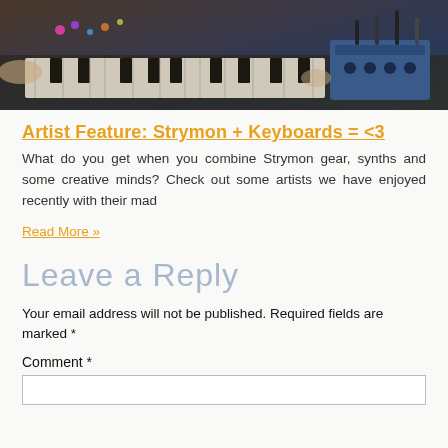[Figure (photo): Photo of a keyboard/synthesizer with colorful lights and a blue effects pedal unit, hands playing keys, warm ambient lighting]
Artist Feature: Strymon + Keyboards = <3
What do you get when you combine Strymon gear, synths and some creative minds? Check out some artists we have enjoyed recently with their mad
Read More »
Leave a Reply
Your email address will not be published. Required fields are marked *
Comment *